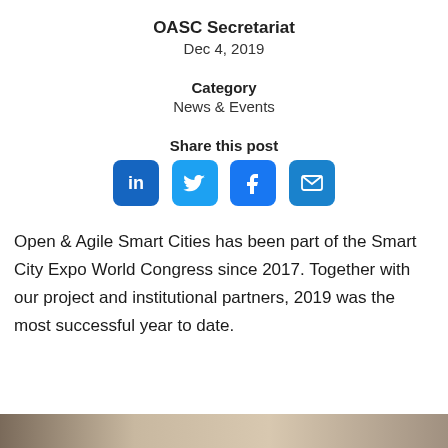OASC Secretariat
Dec 4, 2019
Category
News & Events
Share this post
[Figure (infographic): Social media share buttons: LinkedIn, Twitter, Facebook, Email]
Open & Agile Smart Cities has been part of the Smart City Expo World Congress since 2017. Together with our project and institutional partners, 2019 was the most successful year to date.
[Figure (photo): Partial photo strip at bottom of page showing a conference or expo scene]